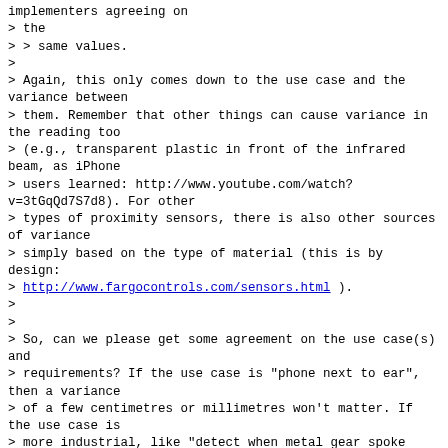implementers agreeing on
> the
> > same values.
>
> Again, this only comes down to the use case and the variance between
> them. Remember that other things can cause variance in the reading too
> (e.g., transparent plastic in front of the infrared beam, as iPhone
> users learned: http://www.youtube.com/watch?v=3tGqQd7S7d8). For other
> types of proximity sensors, there is also other sources of variance
> simply based on the type of material (this is by design:
> http://www.fargocontrols.com/sensors.html ).
>
>
> So, can we please get some agreement on the use case(s) and
> requirements? If the use case is "phone next to ear", then a variance
> of a few centimetres or millimetres won't matter. If the use case is
> more industrial, like "detect when metal gear spoke spinning at 200rpm
> comes into 2mm proximity to the sensor", then current model would be